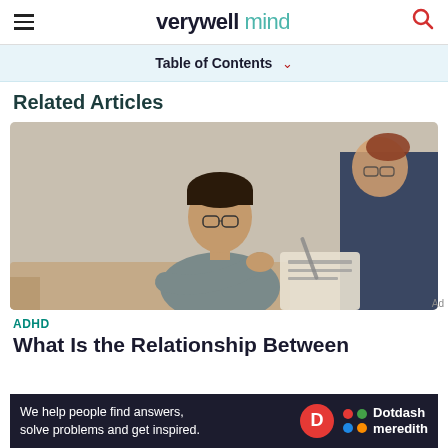verywell mind
Table of Contents
Related Articles
[Figure (photo): A young man wearing glasses sits on a couch talking with a woman who appears to be a therapist, taking notes on a clipboard.]
ADHD
What Is the Relationship Between
We help people find answers, solve problems and get inspired. Dotdash meredith